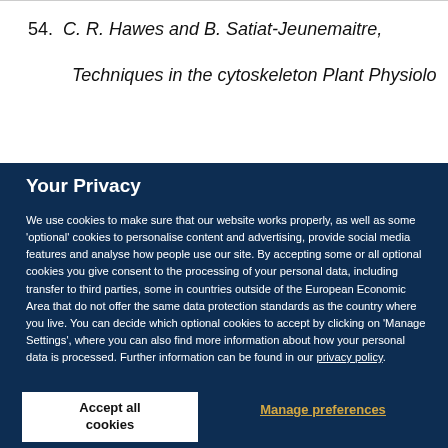54. C. R. Hawes and B. Satiat-Jeunemaitre,
Your Privacy
We use cookies to make sure that our website works properly, as well as some ‘optional’ cookies to personalise content and advertising, provide social media features and analyse how people use our site. By accepting some or all optional cookies you give consent to the processing of your personal data, including transfer to third parties, some in countries outside of the European Economic Area that do not offer the same data protection standards as the country where you live. You can decide which optional cookies to accept by clicking on ‘Manage Settings’, where you can also find more information about how your personal data is processed. Further information can be found in our privacy policy.
Accept all cookies
Manage preferences